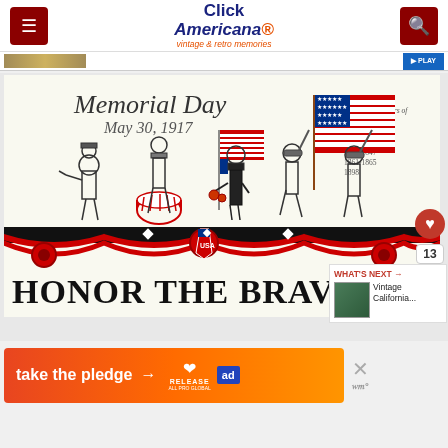Click Americana — vintage & retro memories
[Figure (illustration): Memorial Day May 30, 1917 vintage illustration showing soldiers marching with American flags. Text reads 'Honor the Brave' with USA banner. Soldiers from various wars depicted. Text on upper right reads 'In Memory of American Soldiers of War 1775-1783, 1812-1814, 1846-1847, 1861-1865, 1898'.]
WHAT'S NEXT → Vintage California...
[Figure (infographic): Take the pledge advertisement banner with orange-red gradient background. Shows 'take the pledge →' text with Release and other logos.]